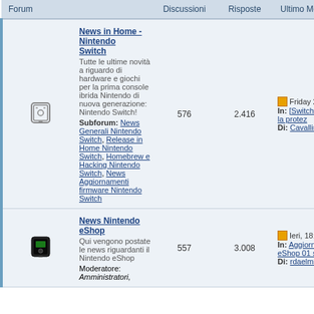| Forum | Discussioni | Risposte | Ultimo Messaggio |
| --- | --- | --- | --- |
| News in Home - Nintendo Switch | Tutte le ultime novità a riguardo di hardware e giochi per la prima console ibrida Nintendo di nuova generazione: Nintendo Switch! Subforum: News Generali Nintendo Switch, Release in Home Nintendo Switch, Homebrew e Hacking Nintendo Switch, News Aggiornamenti firmware Nintendo Switch | 576 | 2.416 | Friday 26 August 2022 - 09:09 | In: [Switch] Annunciata la prote... | Di: Cavallino |
| News Nintendo eShop | Qui vengono postate le news riguardanti il Nintendo eShop Moderatore: Amministratori, | 557 | 3.008 | Ieri, 18:38 | In: Aggiornamento eShop 01 se... | Di: rdaelmito |